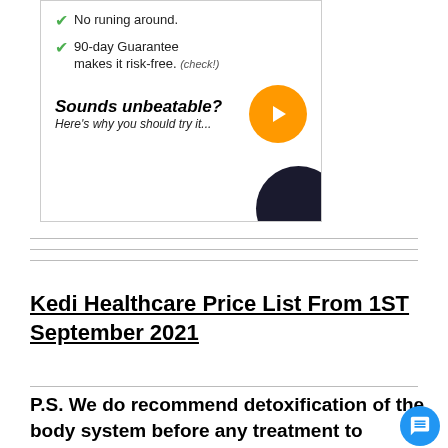[Figure (illustration): Advertisement image showing checkmarks with text 'No runing around.' and '90-day Guarantee makes it risk-free. (check!)', with bold italic text 'Sounds unbeatable? Here's why you should try it...' and an orange play button circle, with a dark circle in bottom right corner.]
Kedi Healthcare Price List From 1ST September 2021
P.S. We do recommend detoxification of the body system before any treatment to enhance result. The supplements for detoxification generally are Colon Cleanse tea, Constilease, Gastrifort, Refresh tea and